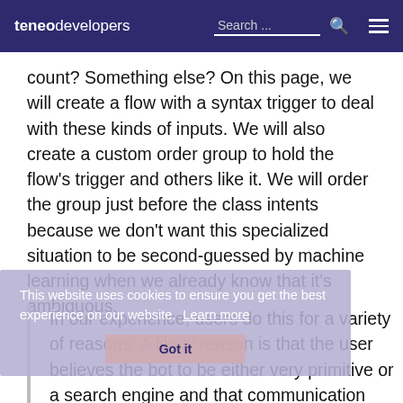teneo developers   Search ...
count? Something else? On this page, we will create a flow with a syntax trigger to deal with these kinds of inputs. We will also create a custom order group to hold the flow's trigger and others like it. We will order the group just before the class intents because we don't want this specialized situation to be second-guessed by machine learning when we already know that it's ambiguous.
This website uses cookies to ensure you get the best experience on our website. Learn more
Got it
In our experience, users do this for a variety of reasons. A likely reason is that the user believes the bot to be either very primitive or a search engine and that communication through keywords is the best way to get to